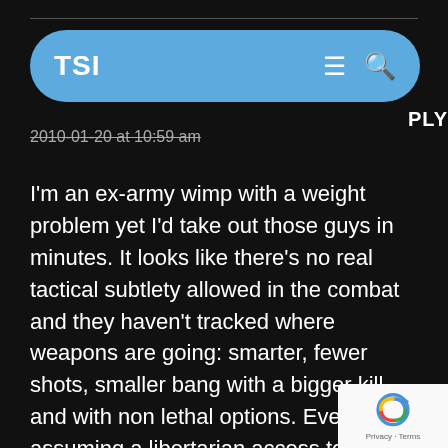TSI
2010-01-20 at 10:59 am
I'm an ex-army wimp with a weight problem yet I'd take out those guys in minutes. It looks like there's no real tactical subtlety allowed in the combat and they haven't tracked where weapons are going: smarter, fewer shots, smaller bang with a bigger kill and with non lethal options. Even assuming a libertarian access to steroids the build of those player characters are unrealistic. Strong but wiry is the key to future troo…
[Figure (logo): Google reCAPTCHA badge with logo and Privacy - Terms link]